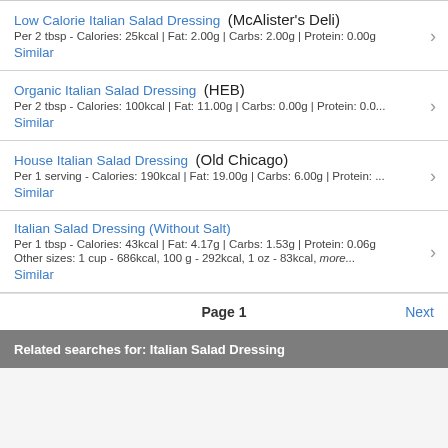Low Calorie Italian Salad Dressing (McAlister's Deli)
Per 2 tbsp - Calories: 25kcal | Fat: 2.00g | Carbs: 2.00g | Protein: 0.00g
Similar
Organic Italian Salad Dressing (HEB)
Per 2 tbsp - Calories: 100kcal | Fat: 11.00g | Carbs: 0.00g | Protein: 0.0...
Similar
House Italian Salad Dressing (Old Chicago)
Per 1 serving - Calories: 190kcal | Fat: 19.00g | Carbs: 6.00g | Protein: ...
Similar
Italian Salad Dressing (Without Salt)
Per 1 tbsp - Calories: 43kcal | Fat: 4.17g | Carbs: 1.53g | Protein: 0.06g
Other sizes: 1 cup - 686kcal, 100 g - 292kcal, 1 oz - 83kcal, more...
Similar
Page 1
Next
Related searches for: Italian Salad Dressing